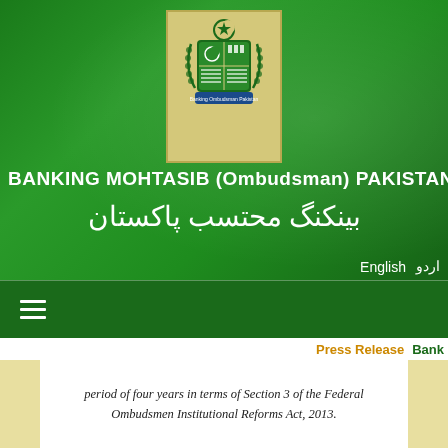[Figure (logo): Banking Ombudsman Pakistan official emblem/coat of arms in a beige box with blue banner reading 'Banking Ombudsman Pakistan']
BANKING MOHTASIB (Ombudsman) PAKISTAN
بینکنگ محتسب پاکستان
English   اردو
[Figure (other): Hamburger menu icon (three white horizontal lines) on dark green navigation bar]
Press Release Bank
period of four years in terms of Section 3 of the Federal Ombudsmen Institutional Reforms Act, 2013.